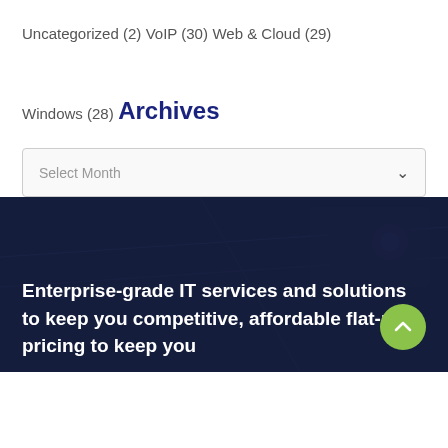Uncategorized (2)
VoIP (30)
Web & Cloud (29)
Windows (28)
Archives
Select Month
Enterprise-grade IT services and solutions to keep you competitive, affordable flat-rate pricing to keep you